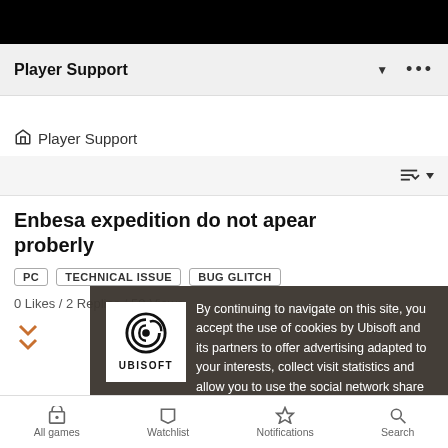Player Support
Player Support
Enbesa expedition do not apear proberly
PC
TECHNICAL ISSUE
BUG GLITCH
0 Likes / 2 Replies / 50 Views
By continuing to navigate on this site, you accept the use of cookies by Ubisoft and its partners to offer advertising adapted to your interests, collect visit statistics and allow you to use the social network share buttons. To learn more and set your cookies.
All games   Watchlist   Notifications   Search